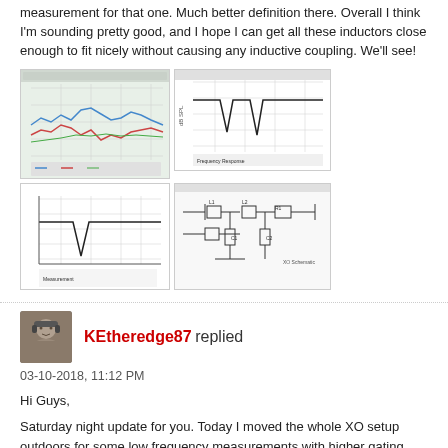measurement for that one. Much better definition there. Overall I think I'm sounding pretty good, and I hope I can get all these inductors close enough to fit nicely without causing any inductive coupling. We'll see!
[Figure (screenshot): Four screenshots: two frequency response plots (colorful and black-and-white), one measurement plot with a dip, and one circuit schematic/crossover diagram.]
[Figure (photo): User avatar photo of KEtheredge87]
KEtheredge87 replied
03-10-2018, 11:12 PM
Hi Guys,
Saturday night update for you. Today I moved the whole XO setup outdoors for some low frequency measurements with higher gating times. I wanted to see if the dip at 350 Hz was real, or room interactions. Based on the outdoor measurements, the 350 Hz dip I saw indoors doesn't seem to be a major issue, so it must be room interactions at work.
Getting the whole setup going outdoors was pretty involved. Lots of fiddling with all the ladders, sawhorses, measurement tables, power